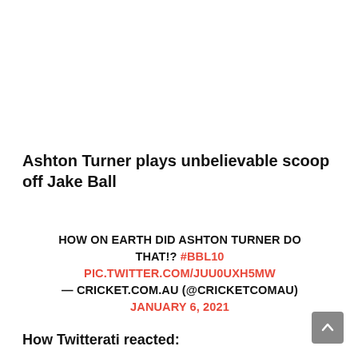Ashton Turner plays unbelievable scoop off Jake Ball
HOW ON EARTH DID ASHTON TURNER DO THAT!? #BBL10 PIC.TWITTER.COM/JUU0UXH5MW — CRICKET.COM.AU (@CRICKETCOMAU) JANUARY 6, 2021
How Twitterati reacted: